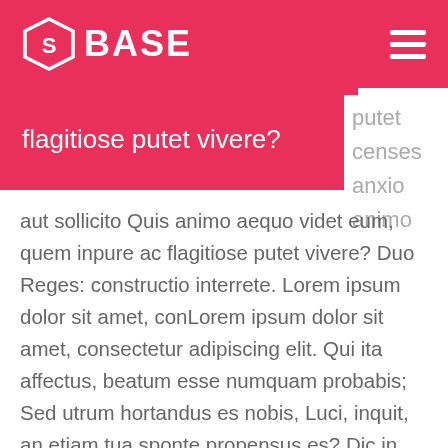S BASE
flagitiose putet vivere?
putet censes anxio animo
aut sollicito Quis animo aequo videt eum, quem inpure ac flagitiose putet vivere? Duo Reges: constructio interrete. Lorem ipsum dolor sit amet, conLorem ipsum dolor sit amet, consectetur adipiscing elit. Qui ita affectus, beatum esse numquam probabis; Sed utrum hortandus es nobis, Luci, inquit, an etiam tua sponte propensus es? Dic in quovis conventu te omnia facere, ne doleas. Deinde prima illa, quae in congressu solemus: Quid tu, inquit, huc?sectetur adipiscing elit.Lorem ipsum dolor sit amet, consectetur adipiscing elit. Qui ita affectus, beatum esse numquam probabis; Sed utrum hortandus es nobis, Luci, inquit, an etiam tua sponte propensus es? Dic in quovis conventu te omnia